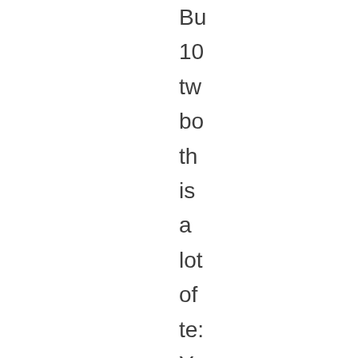Bu
10
tw
bo
th
is
a
lot
of
te:
Yo
kn
its
ov
20
wo
-
th